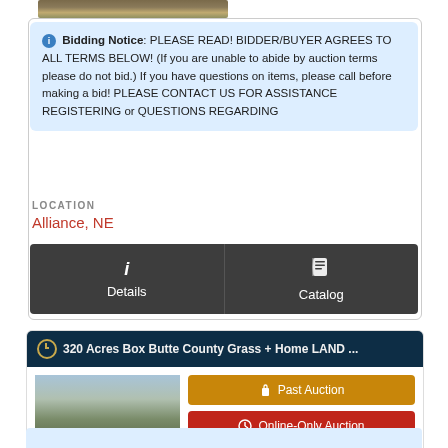[Figure (photo): Aerial/landscape photo thumbnail at top of page]
Bidding Notice: PLEASE READ! BIDDER/BUYER AGREES TO ALL TERMS BELOW! (If you are unable to abide by auction terms please do not bid.) If you have questions on items, please call before making a bid! PLEASE CONTACT US FOR ASSISTANCE REGISTERING or QUESTIONS REGARDING
LOCATION
Alliance, NE
Details
Catalog
320 Acres Box Butte County Grass + Home LAND ...
[Figure (photo): Land auction aerial photo with overlay text LAND AUCTION Box Butte County Country Home with 320 Acres Grass]
Past Auction
Online-Only Auction
Date(s) 6/1/2021 - 6/10/2021